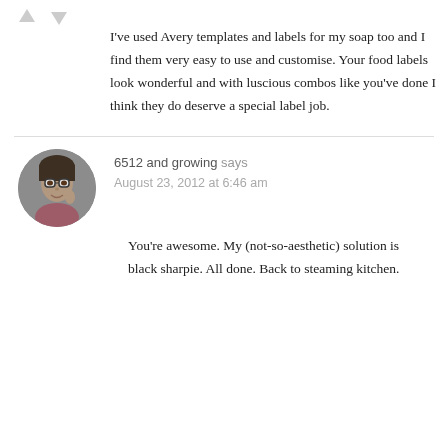I've used Avery templates and labels for my soap too and I find them very easy to use and customise. Your food labels look wonderful and with luscious combos like you've done I think they do deserve a special label job.
[Figure (other): Horizontal divider line separating two comments]
[Figure (photo): Circular avatar photo of a woman with glasses, smiling, with dark/gray background]
6512 and growing says
August 23, 2012 at 6:46 am
You're awesome. My (not-so-aesthetic) solution is black sharpie. All done. Back to steaming kitchen.